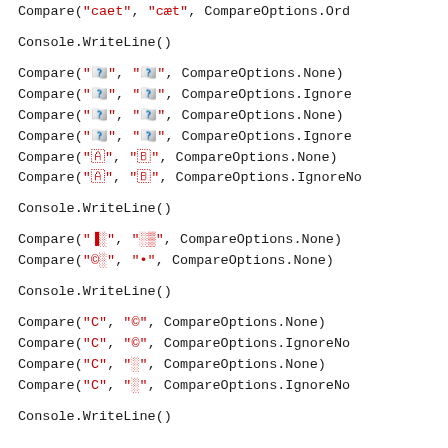Compare("caet", "cæt", CompareOptions.Ord
Console.WriteLine()
Compare("\u{1}\u{2}", "\u{1}\u{2}", CompareOptions.None)
Compare("\u{1}\u{2}", "\u{1}\u{2}", CompareOptions.Ignore
Compare("\u{1}\u{2}", "\u{1}\u{2}", CompareOptions.None)
Compare("\u{1}\u{2}", "\u{1}\u{2}", CompareOptions.Ignore
Compare("\u{1}", "\u{2}", CompareOptions.None)
Compare("\u{1}", "\u{2}", CompareOptions.IgnoreNo
Console.WriteLine()
Compare("\u{1}\u{2}", "\u{1}\u{2}", CompareOptions.None)
Compare("\u{1}\u{2}", "\u{1}", CompareOptions.None)
Console.WriteLine()
Compare("C", "©", CompareOptions.None)
Compare("C", "©", CompareOptions.IgnoreNo
Compare("C", "\u{1}", CompareOptions.None)
Compare("C", "\u{1}", CompareOptions.IgnoreNo
Console.WriteLine()